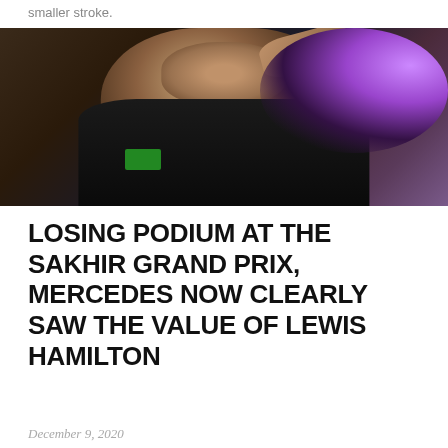smaller stroke.
[Figure (photo): Close-up photo of a racing driver in a dark Mercedes F1 suit with hand on head, looking downward. Purple/pink bokeh lights visible in background top-right corner.]
LOSING PODIUM AT THE SAKHIR GRAND PRIX, MERCEDES NOW CLEARLY SAW THE VALUE OF LEWIS HAMILTON
December 9, 2020